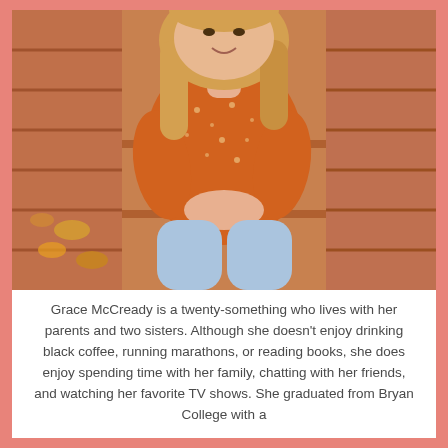[Figure (photo): A young blonde woman wearing an orange floral long-sleeve top and light blue jeans, sitting on brick steps outdoors with autumn leaves in the background.]
Grace McCready is a twenty-something who lives with her parents and two sisters. Although she doesn't enjoy drinking black coffee, running marathons, or reading books, she does enjoy spending time with her family, chatting with her friends, and watching her favorite TV shows. She graduated from Bryan College with a